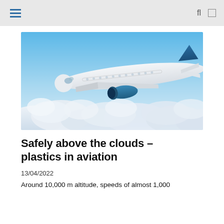☰  fl  □
[Figure (photo): White commercial passenger airplane flying above clouds against a blue sky, viewed from a slightly elevated angle showing the top and side of the aircraft.]
Safely above the clouds – plastics in aviation
13/04/2022
Around 10,000 m altitude, speeds of almost 1,000